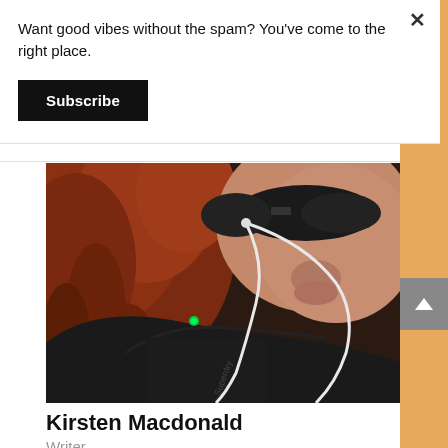Want good vibes without the spam? You've come to the right place.
Subscribe
[Figure (photo): Close-up photo of a person with red curly hair, sunglasses, wearing a black jacket with earphones, taken at a low angle. A small green light is visible near the left shoulder. The jacket has text that appears to read 'Superdry'.]
Kirsten Macdonald
Writer